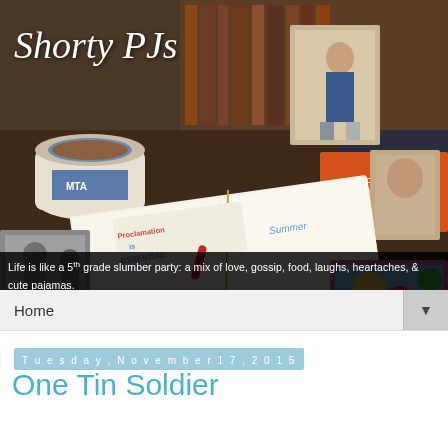[Figure (photo): Blog header photo showing a desk with an open notebook with colorful writing ('Proclamation is Essential', 'Our Story'), a cup of tea/coffee with an MTA mug, stacked books including 'Lincoln in the Bardo', old photographs of children, reading glasses, and colorful items. The blog title 'Shorty PJs' appears in white italic script overlay.]
Life is like a 5th grade slumber party: a mix of love, gossip, food, laughs, heartaches, & cute pajamas.
Home
Tuesday, November 17, 2015
One Tin Soldier